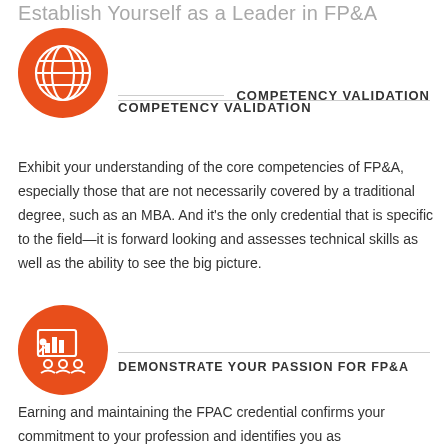Establish Yourself as a Leader in FP&A
[Figure (illustration): Orange circle icon with white globe/world grid symbol]
COMPETENCY VALIDATION
Exhibit your understanding of the core competencies of FP&A, especially those that are not necessarily covered by a traditional degree, such as an MBA. And it's the only credential that is specific to the field—it is forward looking and assesses technical skills as well as the ability to see the big picture.
[Figure (illustration): Orange circle icon with white presenter/teacher at board with audience symbol]
DEMONSTRATE YOUR PASSION FOR FP&A
Earning and maintaining the FPAC credential confirms your commitment to your profession and identifies you as